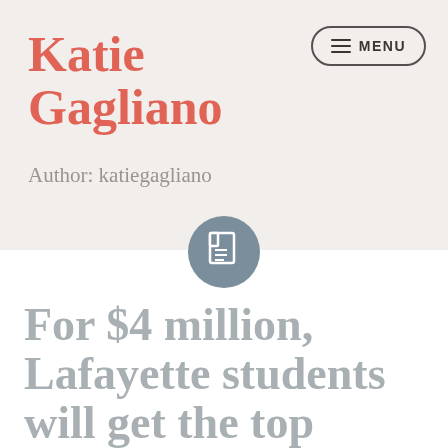Katie Gagliano
Author: katiegagliano
[Figure (logo): Dark gray circular icon with a document/page symbol inside]
For $4 million, Lafayette students will get the top English curriculum the state has